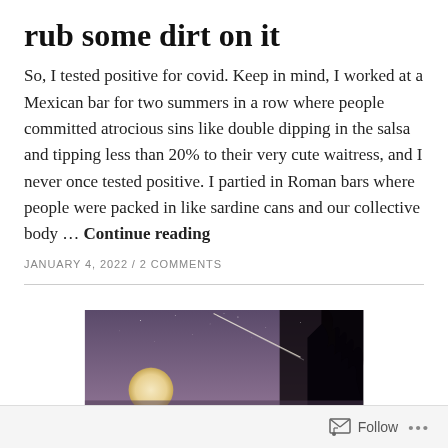rub some dirt on it
So, I tested positive for covid. Keep in mind, I worked at a Mexican bar for two summers in a row where people committed atrocious sins like double dipping in the salsa and tipping less than 20% to their very cute waitress, and I never once tested positive. I partied in Roman bars where people were packed in like sardine cans and our collective body … Continue reading
JANUARY 4, 2022 / 2 COMMENTS
[Figure (photo): Night sky photo showing a shooting star or meteor streak across a purple-grey sky with a full or near-full moon visible in the lower left and tree silhouettes on the right edge.]
Follow